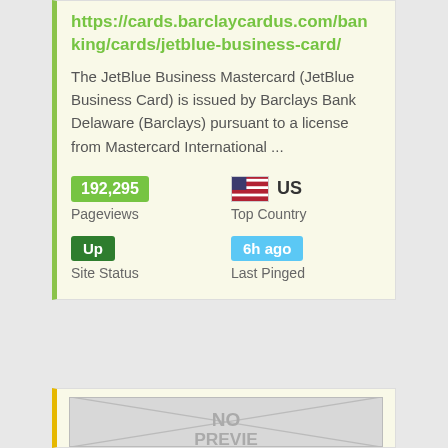https://cards.barclaycardus.com/banking/cards/jetblue-business-card/
The JetBlue Business Mastercard (JetBlue Business Card) is issued by Barclays Bank Delaware (Barclays) pursuant to a license from Mastercard International ...
192,295 Pageviews
US Top Country
Up Site Status
6h ago Last Pinged
[Figure (screenshot): NO PREVIEW placeholder image with envelope/diagonal lines pattern]